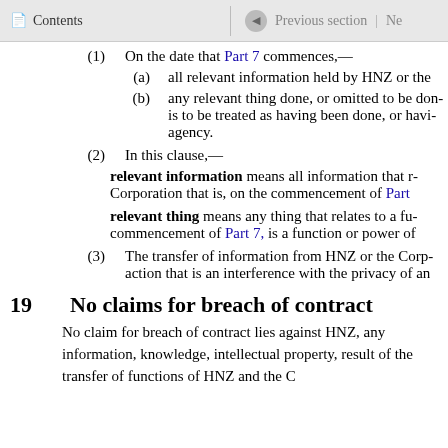Contents | Previous section | Ne
(1) On the date that Part 7 commences,—
(a) all relevant information held by HNZ or the
(b) any relevant thing done, or omitted to be done, is to be treated as having been done, or having agency.
(2) In this clause,—
relevant information means all information that relates to Corporation that is, on the commencement of Part
relevant thing means any thing that relates to a fu commencement of Part 7, is a function or power of
(3) The transfer of information from HNZ or the Corp action that is an interference with the privacy of an
19 No claims for breach of contract
No claim for breach of contract lies against HNZ, any information, knowledge, intellectual property, result of the transfer of functions of HNZ and the C